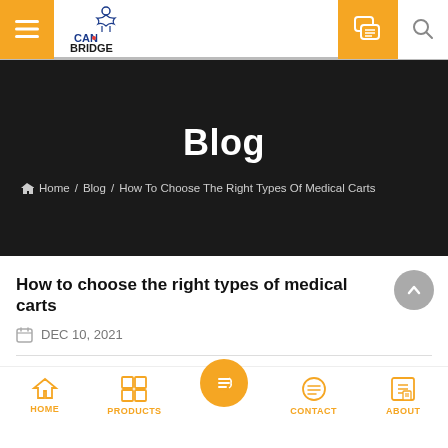CAN BRIDGE — navigation bar with hamburger menu, logo, chat icon, and search icon
Blog
Home / Blog / How To Choose The Right Types Of Medical Carts
How to choose the right types of medical carts
DEC 10, 2021
HOME | PRODUCTS | (Blog icon active) | CONTACT | ABOUT